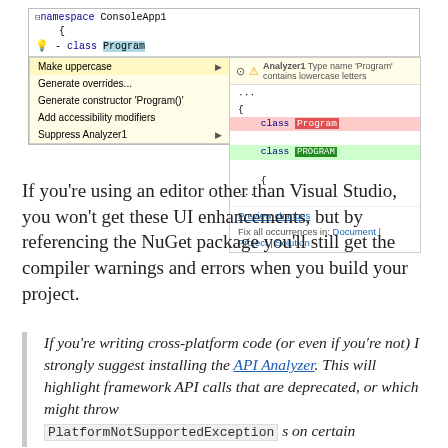[Figure (screenshot): Visual Studio IDE screenshot showing a code editor with 'namespace ConsoleApp1' and 'class Program', with a lightbulb menu offering 'Make uppercase' (highlighted), 'Generate overrides...', 'Generate constructor Program()', 'Add accessibility modifiers', 'Suppress Analyzer1', and a preview panel showing Analyzer1 warning 'Type name Program contains lowercase letters' with diff preview and links to Preview changes and Fix all occurrences in Document | Project | Solution]
If you're using an editor other than Visual Studio, you won't get these UI enhancements, but by referencing the NuGet package you'll still get the compiler warnings and errors when you build your project.
If you're writing cross-platform code (or even if you're not) I strongly suggest installing the API Analyzer. This will highlight framework API calls that are deprecated, or which might throw PlatformNotSupportedException s on certain